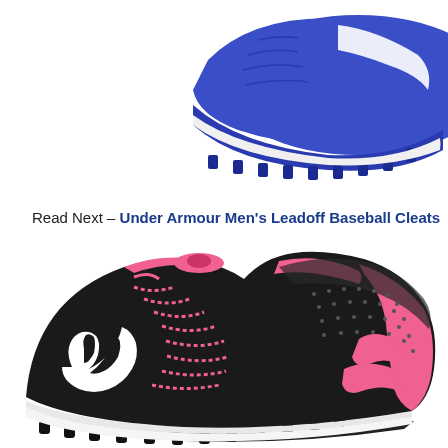[Figure (photo): Blue Under Armour baseball cleat with white stripe, cropped view showing top and sole with molded cleats, positioned in upper right corner]
Read Next – Under Armour Men's Leadoff Baseball Cleats
[Figure (photo): Black and pink Under Armour baseball cleat with white Under Armour logo, pink laces and accents, molded rubber cleats on sole]